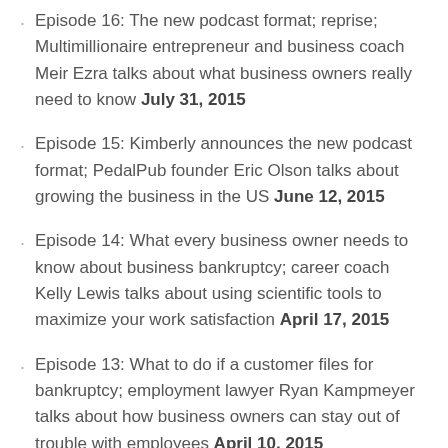Episode 16: The new podcast format; reprise; Multimillionaire entrepreneur and business coach Meir Ezra talks about what business owners really need to know July 31, 2015
Episode 15: Kimberly announces the new podcast format; PedalPub founder Eric Olson talks about growing the business in the US June 12, 2015
Episode 14: What every business owner needs to know about business bankruptcy; career coach Kelly Lewis talks about using scientific tools to maximize your work satisfaction April 17, 2015
Episode 13: What to do if a customer files for bankruptcy; employment lawyer Ryan Kampmeyer talks about how business owners can stay out of trouble with employees April 10, 2015
Episode 12: Avoiding the common mistakes when selling your business; entrepreneur Michelle Smith